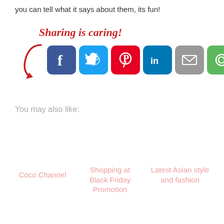you can tell what it says about them, its fun!
[Figure (infographic): Sharing is caring! label with a red curling arrow pointing to social media share buttons: Facebook (blue), Twitter (light blue), Pinterest (red), LinkedIn (blue), Email (gray), and a green recycle/share icon.]
You may also like:
Coco Channel
Shopping at Black Friday Promotion
Latest Asian style and fashion